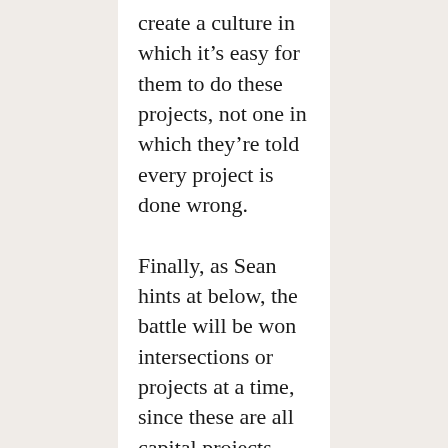create a culture in which it's easy for them to do these projects, not one in which they're told every project is done wrong.
Finally, as Sean hints at below, the battle will be won intersections or projects at a time, since these are all capital projects. Expecting an overnight conversion, absent something transformational like congestion pricing, is